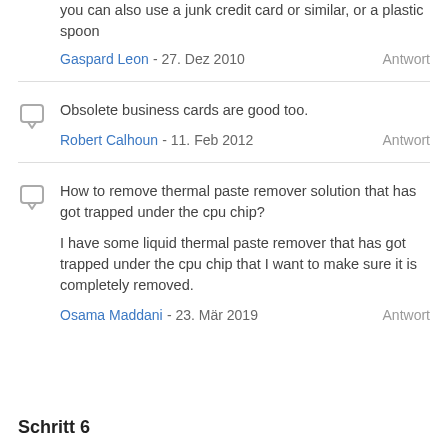you can also use a junk credit card or similar, or a plastic spoon
Gaspard Leon - 27. Dez 2010    Antwort
Obsolete business cards are good too.
Robert Calhoun - 11. Feb 2012    Antwort
How to remove thermal paste remover solution that has got trapped under the cpu chip?
I have some liquid thermal paste remover that has got trapped under the cpu chip that I want to make sure it is completely removed.
Osama Maddani - 23. Mär 2019    Antwort
Schritt 6